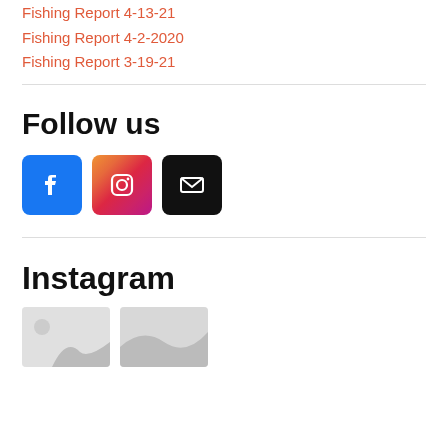Fishing Report 4-13-21
Fishing Report 4-2-2020
Fishing Report 3-19-21
Follow us
[Figure (infographic): Social media icon buttons: Facebook (blue), Instagram (pink gradient), Email (black)]
Instagram
[Figure (photo): Instagram thumbnail photos partially visible at bottom of page]